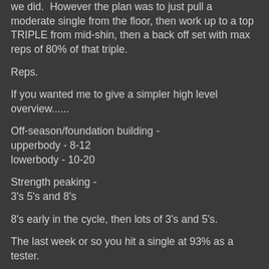we did.  However the plan was to just pull a moderate single from the floor, then work up to a top TRIPLE from mid-shin, then a back off set with max reps of 80% of that triple.
Reps.
If you wanted me to give a simpler high level overview......
Off-season/foundation building -
upperbody - 8-12
lowerbody - 10-20
Strength peaking -
3's 5's and 8's
8's early in the cycle, then lots of 3's and 5's.
The last week or so you hit a single at 93% as a tester.
Can't get much simpler than that.
I also find it weird that guys say their deadlift won't/can't